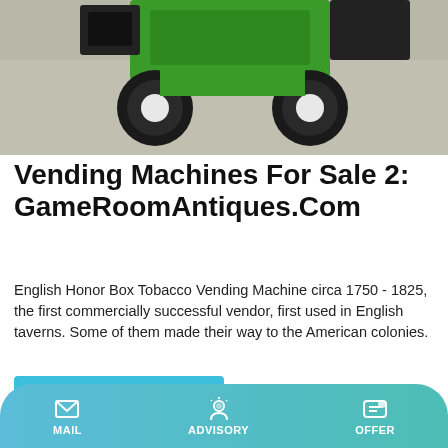[Figure (photo): Photo of a green riding lawn mower or turf equipment on a gravel/dirt surface, viewed from behind, showing large black wheels and green body.]
Vending Machines For Sale 2: GameRoomAntiques.Com
English Honor Box Tobacco Vending Machine circa 1750 - 1825, the first commercially successful vendor, first used in English taverns. Some of them made their way to the American colonies.
Learn More
[Figure (photo): Photo of yellow/orange heavy equipment machinery parts, possibly construction or industrial equipment buckets or blades, with a building structure visible in the background.]
MAIL   ADVISORY   OFFER